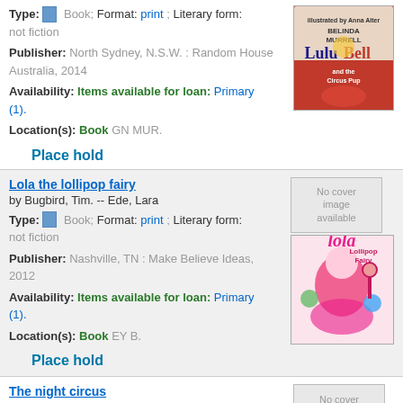Type: Book; Format: print; Literary form: not fiction
Publisher: North Sydney, N.S.W. : Random House Australia, 2014
Availability: Items available for loan: Primary (1).
Location(s): Book GN MUR.
Place hold
[Figure (illustration): Book cover of Lulu Bell and the Circus Pup by Belinda Murrell, featuring a cartoon girl in a circus outfit]
Lola the lollipop fairy
by Bugbird, Tim. -- Ede, Lara
Type: Book; Format: print; Literary form: not fiction
Publisher: Nashville, TN : Make Believe Ideas, 2012
Availability: Items available for loan: Primary (1).
Location(s): Book EY B.
Place hold
[Figure (illustration): No cover image available placeholder and book cover of Lola the Lollipop Fairy featuring a pink-haired fairy with lollipop]
The night circus
by Morgenstern, Erin.
Edition: 1st ed.
[Figure (illustration): No cover image available placeholder and partial dark book cover of The Night Circus]